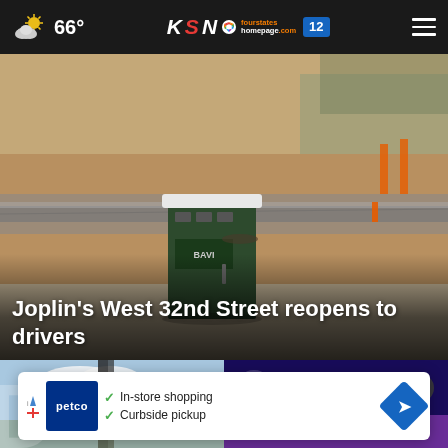66° KSN fourstates homepage .com 12
[Figure (photo): Road construction site showing freshly paved road with a portable toilet/restroom unit in the foreground. Sandy soil and gravel on roadside with construction barriers.]
Joplin's West 32nd Street reopens to drivers
[Figure (photo): Thumbnail image showing partial letter D logo, appears to be a news story thumbnail]
[Figure (screenshot): Dark blue video player thumbnail with play button and close (X) button]
[Figure (other): Petco advertisement banner: In-store shopping and Curbside pickup checkmarks with Petco logo and navigation arrow icon]